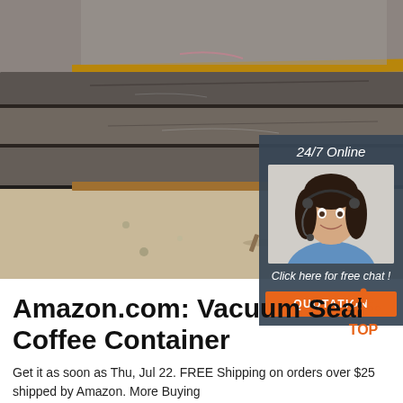[Figure (photo): Photo of stacked steel plates/sheets on sandy ground, industrial setting]
[Figure (illustration): Customer service overlay box with '24/7 Online' text, female agent with headset, 'Click here for free chat!' italic text, and orange QUOTATION button on dark blue-grey background]
Amazon.com: Vacuum Seal Coffee Container
[Figure (logo): Orange dot-pattern TOP badge/icon in bottom right area]
Get it as soon as Thu, Jul 22. FREE Shipping on orders over $25 shipped by Amazon. More Buying